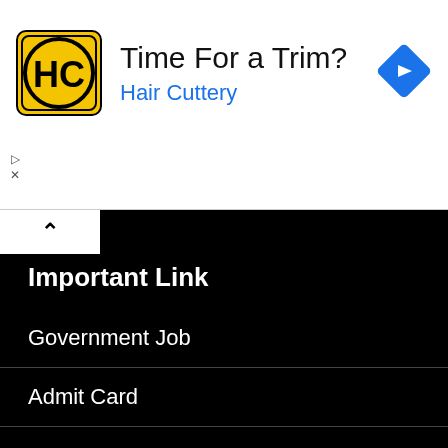[Figure (infographic): Hair Cuttery advertisement banner with logo, headline 'Time For a Trim?', subtext 'Hair Cuttery', and a blue navigation arrow icon on the right]
Important Link
Government Job
Admit Card
Answer Key
Result
Syllabus
Private Job
Quick Links